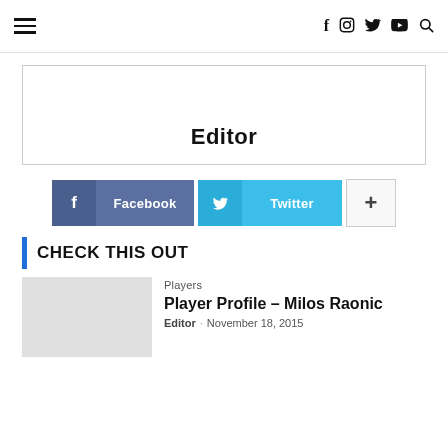Navigation bar with hamburger menu, Facebook, Instagram, Twitter, YouTube, Search icons
[Figure (other): Editor profile box with border, showing name 'Editor' in bold centered at bottom]
[Figure (other): Social share buttons: Facebook (blue), Twitter (cyan), Plus (+) grey button]
CHECK THIS OUT
Players
Player Profile – Milos Raonic
Editor · November 18, 2015